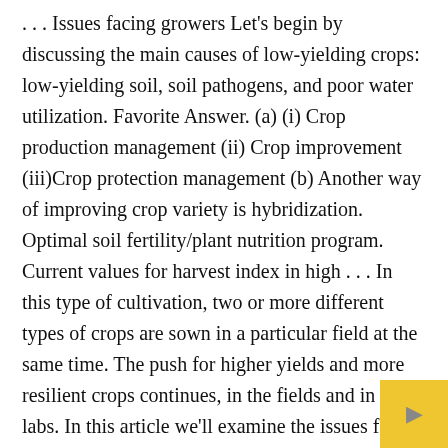. . . Issues facing growers Let's begin by discussing the main causes of low-yielding crops: low-yielding soil, soil pathogens, and poor water utilization. Favorite Answer. (a) (i) Crop production management (ii) Crop improvement (iii)Crop protection management (b) Another way of improving crop variety is hybridization. Optimal soil fertility/plant nutrition program. Current values for harvest index in high . . . In this type of cultivation, two or more different types of crops are sown in a particular field at the same time. The push for higher yields and more resilient crops continues, in the fields and in the labs. In this article we'll examine the issues facing the agricultural industry today and how BioFlora® can help increase crop yield by addressing common problems in a cost-effective, sustainable w... Cover crops, when . . . Livestock facilities. Intensifying...